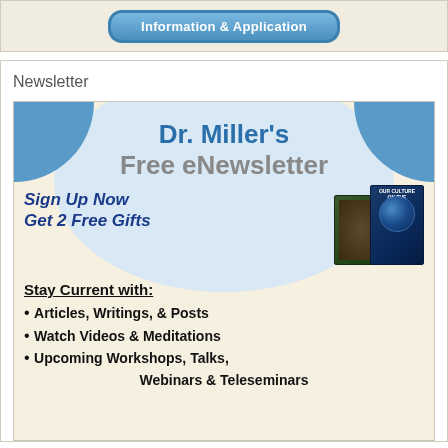[Figure (illustration): A rounded rectangle button with gradient blue background labeled 'Information & Application']
Newsletter
[Figure (infographic): Dr. Miller's Free eNewsletter promotional banner with blue corner decorations, circle background, two book images, sign up call to action, and bullet list of benefits including Articles Writings & Posts, Watch Videos & Meditations, Upcoming Workshops Talks Webinars & Teleseminars]